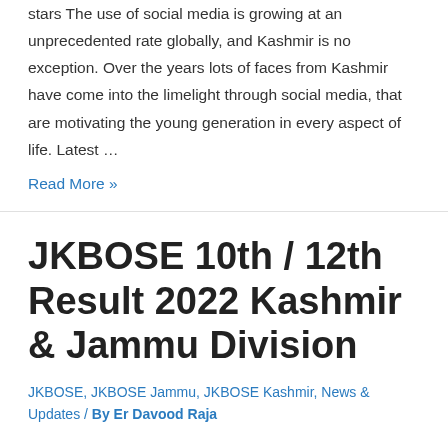stars The use of social media is growing at an unprecedented rate globally, and Kashmir is no exception. Over the years lots of faces from Kashmir have come into the limelight through social media, that are motivating the young generation in every aspect of life. Latest …
Read More »
JKBOSE 10th / 12th Result 2022 Kashmir & Jammu Division
JKBOSE, JKBOSE Jammu, JKBOSE Kashmir, News & Updates / By Er Davood Raja
JKBOSE twelfth Result 2022 Kashmir and Jammu Division Annual Regular – Check Released Date, Time and Mark Sheet! JKBOSE twelfth Result 2022 Kashmir Division Annual Regular – Check…